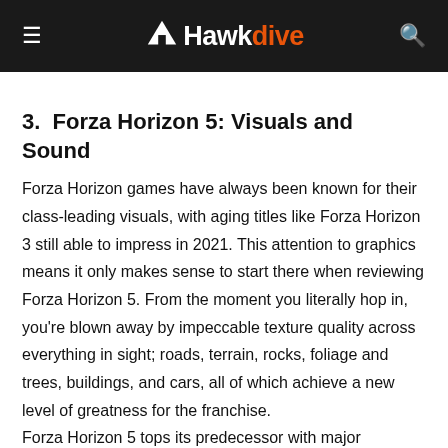Hawkdive
3.  Forza Horizon 5: Visuals and Sound
Forza Horizon games have always been known for their class-leading visuals, with aging titles like Forza Horizon 3 still able to impress in 2021. This attention to graphics means it only makes sense to start there when reviewing Forza Horizon 5. From the moment you literally hop in, you're blown away by impeccable texture quality across everything in sight; roads, terrain, rocks, foliage and trees, buildings, and cars, all of which achieve a new level of greatness for the franchise.
Forza Horizon 5 tops its predecessor with major upgrades across the board, especially when it comes to lighting. The new lighting engine excels in every situation here.
Reflections and shadows look fantastic, even without the